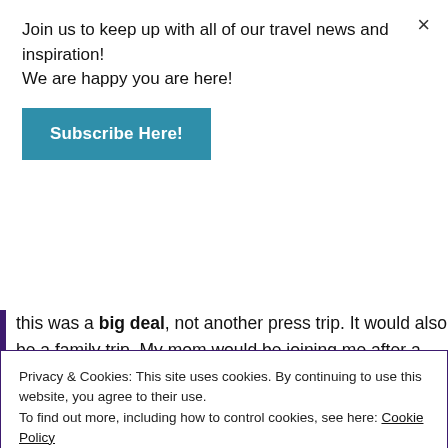Join us to keep up with all of our travel news and inspiration! We are happy you are here!
Subscribe Here!
this was a big deal, not another press trip. It would also be a family trip. My mom would be joining me after a week as I wrapped up teaching and turned my attention to more travel.
The travel experts at Family Legacy had arranged and
Privacy & Cookies: This site uses cookies. By continuing to use this website, you agree to their use. To find out more, including how to control cookies, see here: Cookie Policy
Close and accept
donations. I was literally allotted three 50 pound